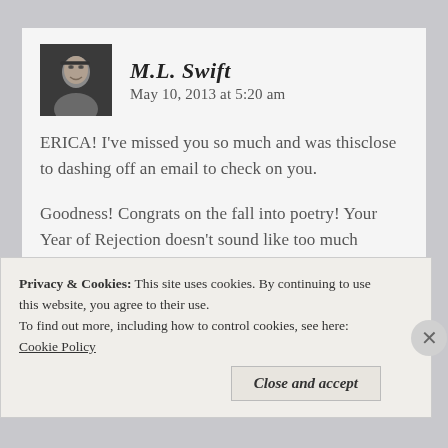[Figure (photo): Avatar photo of M.L. Swift, a man with glasses]
M.L. Swift   May 10, 2013 at 5:20 am
ERICA! I've missed you so much and was thisclose to dashing off an email to check on you.
Goodness! Congrats on the fall into poetry! Your Year of Rejection doesn't sound like too much rejection! Woo hoo! I'm so proud of your accomplishments and fearlessness in pursuing publication. And the success you're having! So good to see you!
Privacy & Cookies: This site uses cookies. By continuing to use this website, you agree to their use. To find out more, including how to control cookies, see here: Cookie Policy
Close and accept